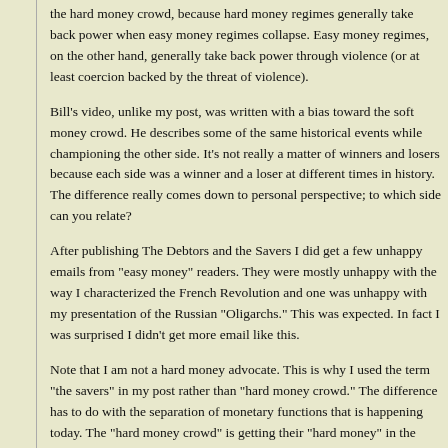the hard money crowd, because hard money regimes generally take back power when easy money regimes collapse. Easy money regimes, on the other hand, generally take back power through violence (or at least coercion backed by the threat of violence).
Bill's video, unlike my post, was written with a bias toward the soft money crowd. He describes some of the same historical events while championing the other side. It's not really a matter of winners and losers because each side was a winner and a loser at different times in history. The difference really comes down to personal perspective; to which side can you relate?
After publishing The Debtors and the Savers I did get a few unhappy emails from "easy money" readers. They were mostly unhappy with the way I characterized the French Revolution and one was unhappy with my presentation of the Russian "Oligarchs." This was expected. In fact I was surprised I didn't get more email like this.
Note that I am not a hard money advocate. This is why I used the term "the savers" in my post rather than "hard money crowd." The difference has to do with the separation of monetary functions that is happening today. The "hard money crowd" is getting their "hard money" in the store of value role and the "soft money crowd" will